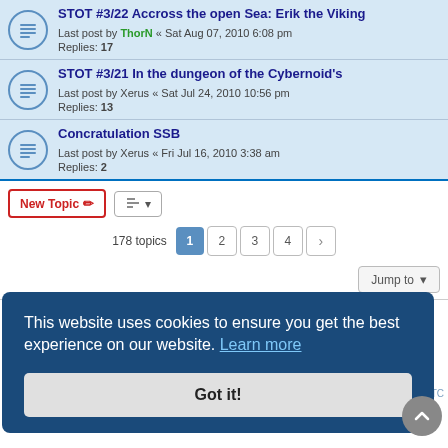STOT #3/22 Accross the open Sea: Erik the Viking
Last post by ThorN « Sat Aug 07, 2010 6:08 pm
Replies: 17
STOT #3/21 In the dungeon of the Cybernoid's
Last post by Xerus « Sat Jul 24, 2010 10:56 pm
Replies: 13
Concratulation SSB
Last post by Xerus « Fri Jul 16, 2010 3:38 am
Replies: 2
New Topic  [sort icon]  178 topics  1  2  3  4  >
Jump to
FORUM PERMISSIONS
This website uses cookies to ensure you get the best experience on our website. Learn more
Got it!
es are UTC